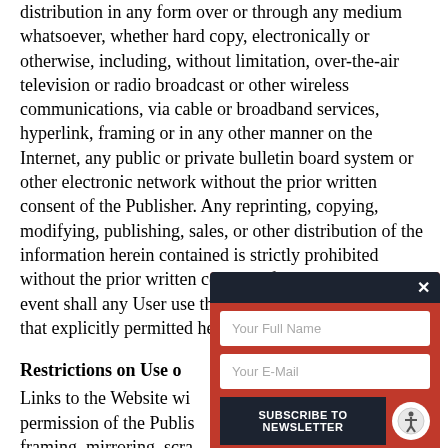distribution in any form over or through any medium whatsoever, whether hard copy, electronically or otherwise, including, without limitation, over-the-air television or radio broadcast or other wireless communications, via cable or broadband services, hyperlink, framing or in any other manner on the Internet, any public or private bulletin board system or other electronic network without the prior written consent of the Publisher. Any reprinting, copying, modifying, publishing, sales, or other distribution of the information herein contained is strictly prohibited without the prior written consent of the Publisher. In no event shall any User use the Data for any use other than that explicitly permitted herein.
Restrictions on Use o
Links to the Website wi permission of the Publis framing, mirroring, scra or any of its content in a prohibited. User may no decompile, disassemble
[Figure (screenshot): A newsletter subscription modal popup with dark header containing an X close button, red body with two input fields (Your Full Name, Your E-Mail), a dark Subscribe to Newsletter button, and an accessibility icon in the bottom right corner.]